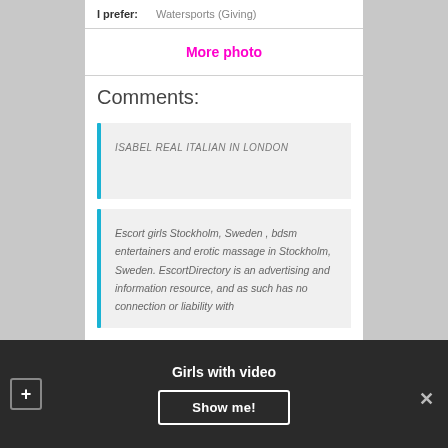I prefer: Watersports (Giving)
More photo
Comments:
ISABEL REAL ITALIAN IN LONDON
Escort girls Stockholm, Sweden , bdsm entertainers and erotic massage in Stockholm, Sweden. EscortDirectory is an advertising and information resource, and as such has no connection or liability with
Girls with video  Show me!